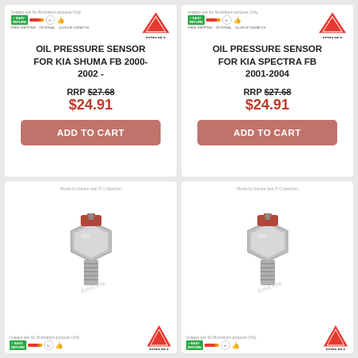[Figure (screenshot): Product card for Oil Pressure Sensor for KIA Shuma FB 2000-2002 with price RRP $27.68, sale $24.91 and Add to Cart button]
[Figure (screenshot): Product card for Oil Pressure Sensor for KIA Spectra FB 2001-2004 with price RRP $27.68, sale $24.91 and Add to Cart button]
[Figure (photo): Photo of oil pressure sensor product (metal sensor with red/brown polymer body) with media source label and Extra Mile logo at bottom]
[Figure (photo): Photo of oil pressure sensor product (metal sensor with red/brown polymer body) with media source label and Extra Mile logo at bottom]